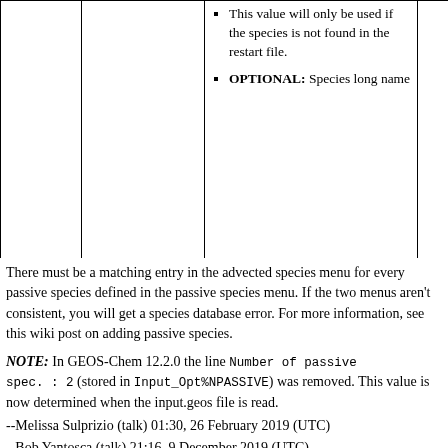|  |  | This value will only be used if the species is not found in the restart file.
OPTIONAL: Species long name |  |
There must be a matching entry in the advected species menu for every passive species defined in the passive species menu. If the two menus aren't consistent, you will get a species database error. For more information, see this wiki post on adding passive species.
NOTE: In GEOS-Chem 12.2.0 the line Number of passive spec. : 2 (stored in Input_Opt%NPASSIVE) was removed. This value is now determined when the input.geos file is read.
--Melissa Sulprizio (talk) 01:30, 26 February 2019 (UTC)
--Bob Yantosca (talk) 21:16, 9 December 2019 (UTC)